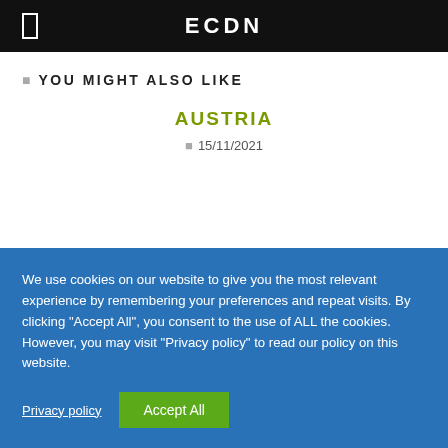ECDN
YOU MIGHT ALSO LIKE
AUSTRIA
15/11/2021
We use cookies on our website to give you the most relevant experience by remembering your preferences and repeat visits. By clicking "Accept All", you consent to the use of ALL the cookies. However, you may visit "Privacy policy" to read our policy on this website.
Privacy policy
Accept All